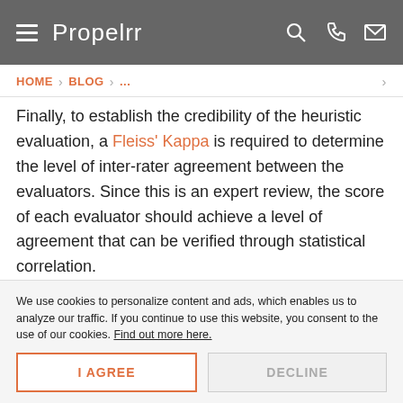Propelrr
HOME > BLOG > ...
Finally, to establish the credibility of the heuristic evaluation, a Fleiss' Kappa is required to determine the level of inter-rater agreement between the evaluators. Since this is an expert review, the score of each evaluator should achieve a level of agreement that can be verified through statistical correlation.
The result of the Fleiss' Kappa lets you know if the
We use cookies to personalize content and ads, which enables us to analyze our traffic. If you continue to use this website, you consent to the use of our cookies. Find out more here.